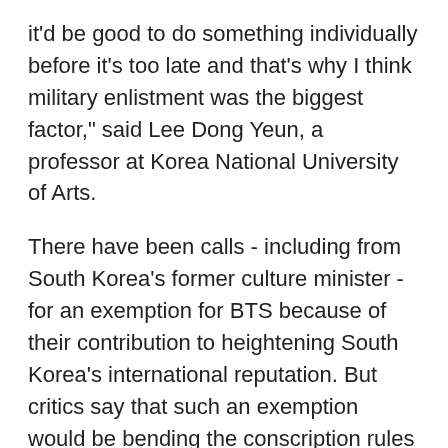it'd be good to do something individually before it's too late and that's why I think military enlistment was the biggest factor," said Lee Dong Yeun, a professor at Korea National University of Arts.
There have been calls - including from South Korea's former culture minister - for an exemption for BTS because of their contribution to heightening South Korea's international reputation. But critics say that such an exemption would be bending the conscription rules to favor the privileged.
Jin, 29, is expected to enlist this year